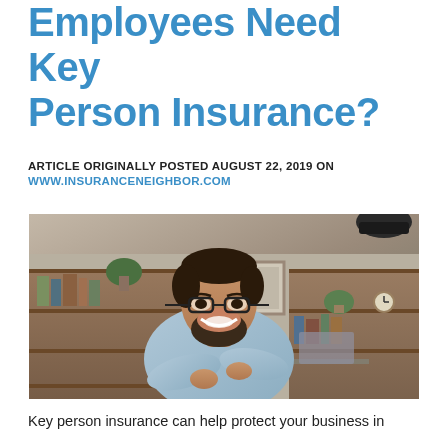Employees Need Key Person Insurance?
ARTICLE ORIGINALLY POSTED AUGUST 22, 2019 ON
WWW.INSURANCENEIGHBOR.COM
[Figure (photo): A smiling middle-aged man with a beard and glasses, wearing a light blue button-up shirt with arms crossed, standing in an office environment with bookshelves and plants in the background.]
Key person insurance can help protect your business in